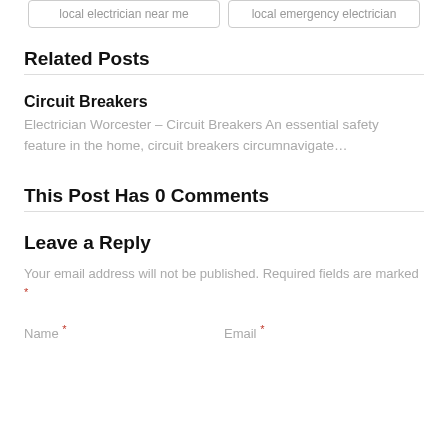local electrician near me
local emergency electrician
Related Posts
Circuit Breakers
Electrician Worcester – Circuit Breakers An essential safety feature in the home, circuit breakers circumnavigate…
This Post Has 0 Comments
Leave a Reply
Your email address will not be published. Required fields are marked *
Name *
Email *